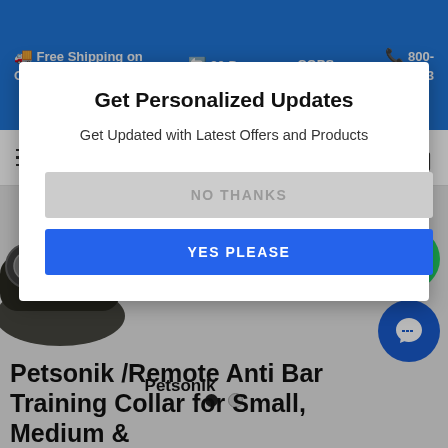Free Shipping on Orders   30 Day   COPS   800-559-9863
[Figure (screenshot): Navigation bar with hamburger menu, search icon, and shopping bag icon on white background]
[Figure (photo): Dark leather anti-bark dog training collar shown partially behind modal dialog]
Get Personalized Updates
Get Updated with Latest Offers and Products
NO THANKS
YES PLEASE
Petsonik
Petsonik /Remote Anti Bark Training Collar for Small, Medium &